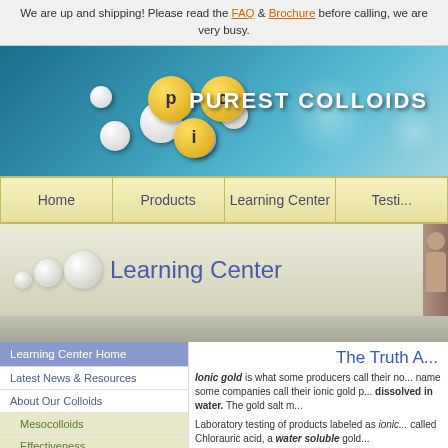We are up and shipping! Please read the FAQ & Brochure before calling, we are very busy.
[Figure (logo): Purest Colloids logo with molecule spheres on blue-green gradient background]
Home | Products | Learning Center | Testi...
Learning Center
Learning Center Home
Latest News & Resources
About Our Colloids
Mesocolloids
Effectiveness
Meso-World Visualization
Mesoprocess
The Truth A...
Ionic gold is what some producers call their no... name some companies call their ionic gold p... dissolved in water. The gold salt m...
Laboratory testing of products labeled as ionic... called Chlorauric acid, a water soluble gold...